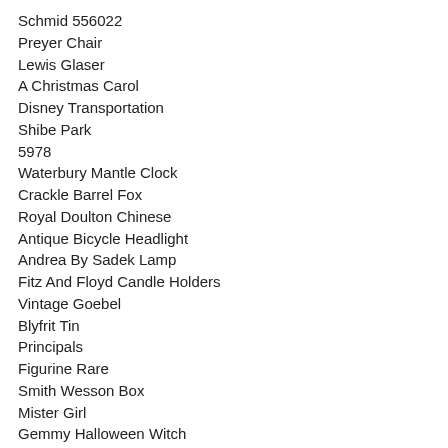Schmid 556022
Preyer Chair
Lewis Glaser
A Christmas Carol
Disney Transportation
Shibe Park
5978
Waterbury Mantle Clock
Crackle Barrel Fox
Royal Doulton Chinese
Antique Bicycle Headlight
Andrea By Sadek Lamp
Fitz And Floyd Candle Holders
Vintage Goebel
Blyfrit Tin
Principals
Figurine Rare
Smith Wesson Box
Mister Girl
Gemmy Halloween Witch
Hanging Framed
Brahmin Louise Rose Satchel